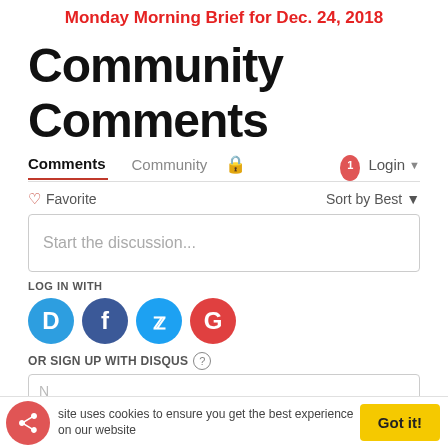Monday Morning Brief for Dec. 24, 2018
Community Comments
Comments  Community  🔒  1  Login ▾
♡ Favorite  Sort by Best ▾
Start the discussion...
LOG IN WITH
[Figure (infographic): Social login icons: Disqus (blue), Facebook (dark blue), Twitter (light blue), Google (red)]
OR SIGN UP WITH DISQUS ?
N...
...site uses cookies to ensure you get the best experience on our website  Got it!